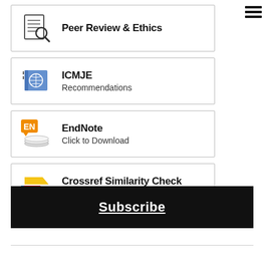[Figure (infographic): Peer Review & Ethics icon with document and magnifying glass]
[Figure (infographic): ICMJE Recommendations icon with globe/book image]
[Figure (infographic): EndNote Click to Download icon with EN logo and paper stack]
[Figure (infographic): Crossref Similarity Check Powered by iThenticate icon with colored chevrons]
Subscribe